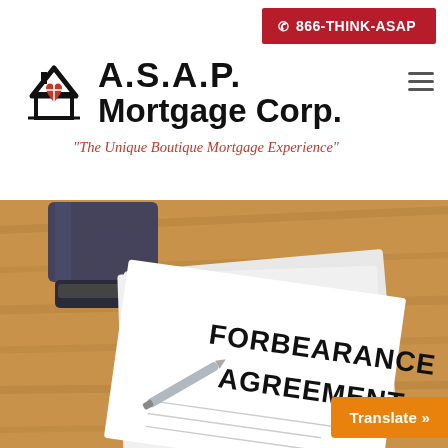866-THINK-ASAP
[Figure (logo): A.S.A.P. Mortgage Corp. logo with house and heart icon, tagline: The Unique Boutique Mortgage Experience]
[Figure (photo): Photo of a Forbearance Agreement document on a wooden desk with a pen and notebook]
Translate »